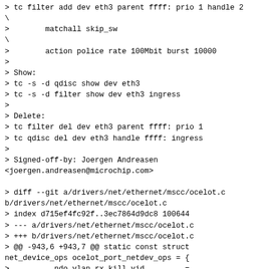> tc filter add dev eth3 parent ffff: prio 1 handle 2\
>		matchall skip_sw\
>		action police rate 100Mbit burst 10000
>
> Show:
> tc -s -d qdisc show dev eth3
> tc -s -d filter show dev eth3 ingress
>
> Delete:
> tc filter del dev eth3 parent ffff: prio 1
> tc qdisc del dev eth3 handle ffff: ingress
>
> Signed-off-by: Joergen Andreasen <joergen.andreasen@microchip.com>

> diff --git a/drivers/net/ethernet/mscc/ocelot.c b/drivers/net/ethernet/mscc/ocelot.c
> index d715ef4fc92f..3ec7864d9dc8 100644
> --- a/drivers/net/ethernet/mscc/ocelot.c
> +++ b/drivers/net/ethernet/mscc/ocelot.c
> @@ -943,6 +943,7 @@ static const struct net_device_ops ocelot_port_netdev_ops = {
>		.ndo_vlan_rx_kill_vid		= ocelot_vlan_rx_kill_vid,
>		.ndo_set_features			= ocelot_set_features,
>		.ndo_get_port_parent_id		= ocelot_get_port_parent_id,